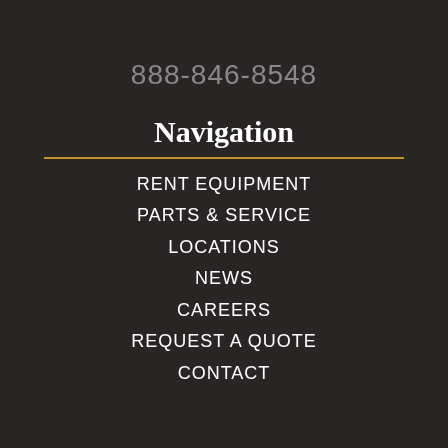888-846-8548
Navigation
RENT EQUIPMENT
PARTS & SERVICE
LOCATIONS
NEWS
CAREERS
REQUEST A QUOTE
CONTACT